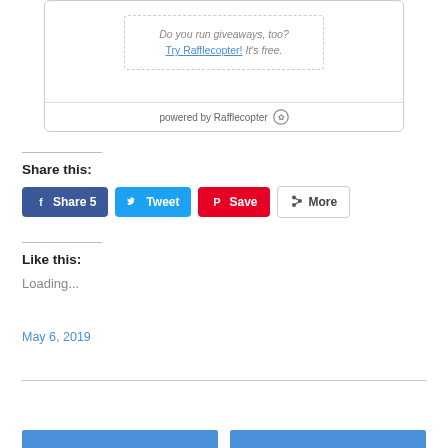[Figure (screenshot): Rafflecopter giveaway widget showing 'Do you run giveaways, too? Try Rafflecopter! It's free.' with 'powered by Rafflecopter' footer bar.]
Share this:
[Figure (infographic): Social share buttons: Facebook Share 5, Tweet, Pinterest Save, More]
Like this:
Loading...
May 6, 2019
[Figure (screenshot): Bottom blue navigation bar (partial)]